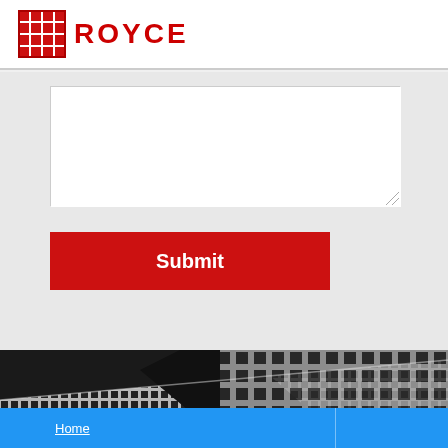[Figure (logo): Royce company logo with red grid icon and red ROYCE text]
[Figure (screenshot): White textarea input box for form submission]
[Figure (screenshot): Red Submit button]
[Figure (photo): Close-up photo of metal steel bar grating panels stacked at angles, showing grid pattern]
Home